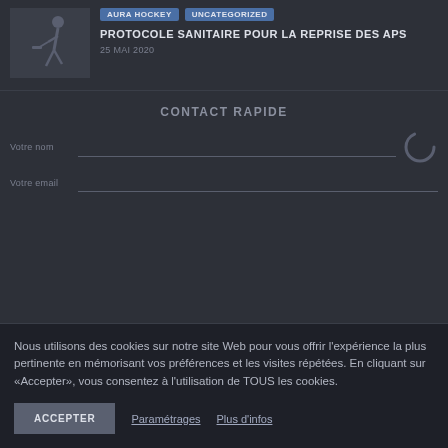[Figure (photo): Thumbnail image of a person playing hockey on a dark background]
AURA HOCKEY  UNCATEGORIZED
PROTOCOLE SANITAIRE POUR LA REPRISE DES APS
25 MAI 2020
CONTACT RAPIDE
Votre nom
Votre email
Nous utilisons des cookies sur notre site Web pour vous offrir l'expérience la plus pertinente en mémorisant vos préférences et les visites répétées. En cliquant sur «Accepter», vous consentez à l'utilisation de TOUS les cookies.
ACCEPTER
Paramétrages
Plus d'infos